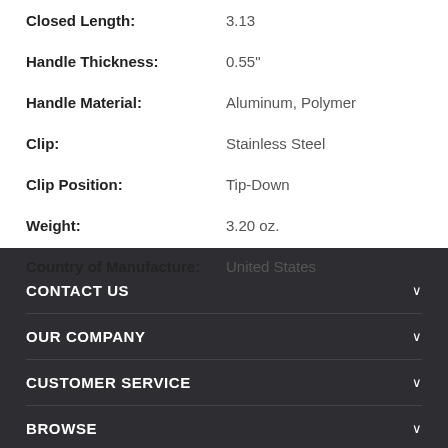Closed Length: 3.13
Handle Thickness: 0.55"
Handle Material: Aluminum, Polymer
Clip: Stainless Steel
Clip Position: Tip-Down
Weight: 3.20 oz.
Country of Manufacture: United States
CONTACT US
OUR COMPANY
CUSTOMER SERVICE
BROWSE